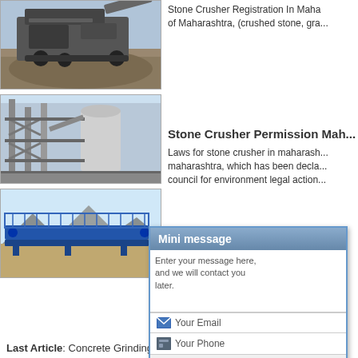[Figure (photo): Stone crusher heavy machinery at a quarry site]
Stone Crusher Registration In Maharashtra, (crushed stone, gra...
[Figure (photo): Industrial stone crusher facility with silos and conveyor structure]
Stone Crusher Permission Mah...
Laws for stone crusher in maharash... maharashtra, which has been decla... council for environment legal action...
[Figure (photo): Blue conveyor belt machinery at a stone crushing site with mountains in background]
Governm... n...
Subsidy P... ha... productio... fa... developm... th... guarantee... re...
[Figure (screenshot): Mini message popup dialog with textarea, email field, phone field, and Email Us / Send buttons]
Last Article: Concrete Grinding Machine For...